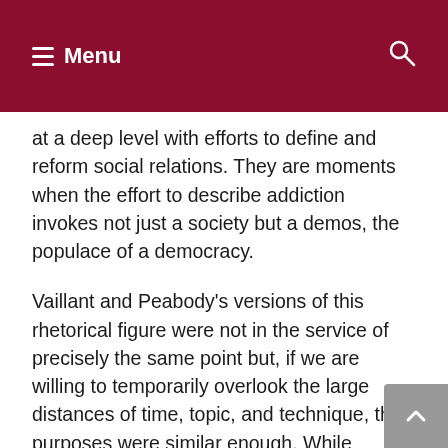Menu
at a deep level with efforts to define and reform social relations. They are moments when the effort to describe addiction invokes not just a society but a demos, the populace of a democracy.
Vaillant and Peabody's versions of this rhetorical figure were not in the service of precisely the same point but, if we are willing to temporarily overlook the large distances of time, topic, and technique, their purposes were similar enough. While Vaillant emphasized social categories, and Peabody focused on psychological characteristics, both were tracing out a